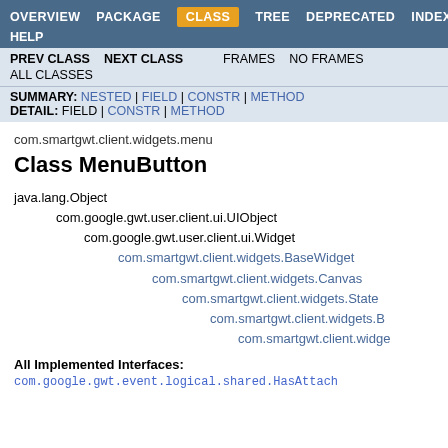OVERVIEW  PACKAGE  CLASS  TREE  DEPRECATED  INDEX  HELP
PREV CLASS  NEXT CLASS  FRAMES  NO FRAMES  ALL CLASSES
SUMMARY: NESTED | FIELD | CONSTR | METHOD  DETAIL: FIELD | CONSTR | METHOD
com.smartgwt.client.widgets.menu
Class MenuButton
java.lang.Object
  com.google.gwt.user.client.ui.UIObject
    com.google.gwt.user.client.ui.Widget
      com.smartgwt.client.widgets.BaseWidget
        com.smartgwt.client.widgets.Canvas
          com.smartgwt.client.widgets.State
            com.smartgwt.client.widgets.B
              com.smartgwt.client.widge
All Implemented Interfaces:
com.google.gwt.event.logical.shared.HasAttach